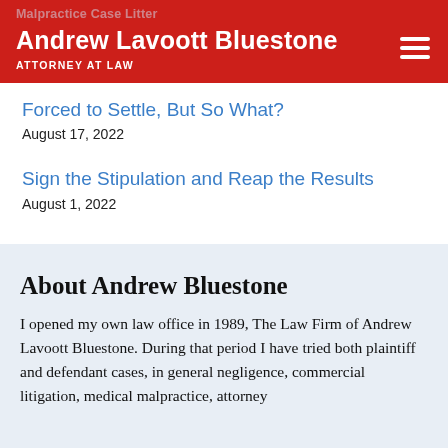Malpractice Case Litter
Andrew Lavoott Bluestone
ATTORNEY AT LAW
Forced to Settle, But So What?
August 17, 2022
Sign the Stipulation and Reap the Results
August 1, 2022
About Andrew Bluestone
I opened my own law office in 1989, The Law Firm of Andrew Lavoott Bluestone. During that period I have tried both plaintiff and defendant cases, in general negligence, commercial litigation, medical malpractice, attorney